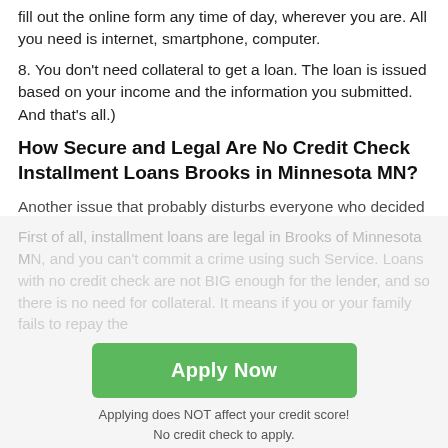fill out the online form any time of day, wherever you are. All you need is internet, smartphone, computer.
8. You don't need collateral to get a loan. The loan is issued based on your income and the information you submitted. And that's all.)
How Secure and Legal Are No Credit Check Installment Loans Brooks in Minnesota MN?
Another issue that probably disturbs everyone who decided to use installment loans Brooks direct lenders is security. How can a lender break the law? What consequences could there be for my family and me?
First of all, installment loans are legal in Brooks of Minnesota MN, and you can't commit a crime using such Service. Loans with no credit check are not BIG enough for the lender, and so there is no need for collateral. It means if you or your family fails to repay the
Apply Now
Applying does NOT affect your credit score!
No credit check to apply.